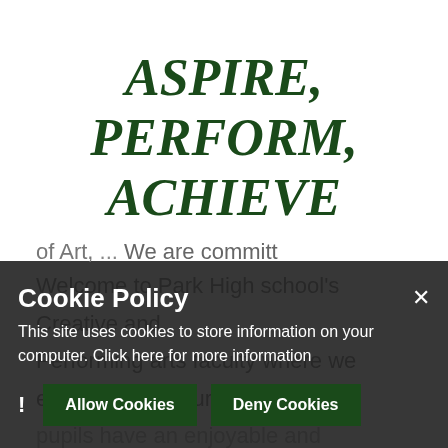ASPIRE, PERFORM, ACHIEVE
Welcome to Park High school's Creative and Performing arts faculty where we ensure that all our pupils have an enjoyable and rewarding experience of Art, ... We are committed to celebrating ... our students ... they develop their skills and ... should reward their education and post 16 opportunities...
Cookie Policy
This site uses cookies to store information on your computer. Click here for more information
Allow Cookies | Deny Cookies